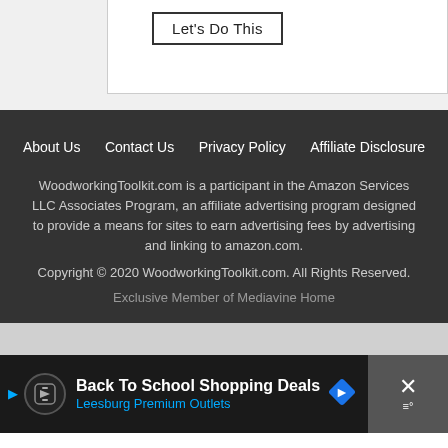[Figure (screenshot): Button labeled 'Let's Do This' with a rectangular border]
About Us  Contact Us  Privacy Policy  Affiliate Disclosure

WoodworkingToolkit.com is a participant in the Amazon Services LLC Associates Program, an affiliate advertising program designed to provide a means for sites to earn advertising fees by advertising and linking to amazon.com.

Copyright © 2020 WoodworkingToolkit.com. All Rights Reserved.

Exclusive Member of Mediavine Home
[Figure (screenshot): Ad bar: Back To School Shopping Deals - Leesburg Premium Outlets]
[Figure (logo): Share button (circular) with share icon]